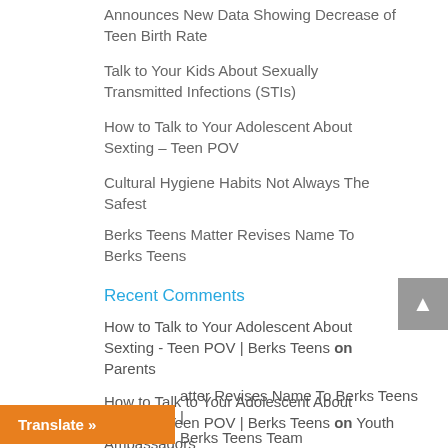Announces New Data Showing Decrease of Teen Birth Rate
Talk to Your Kids About Sexually Transmitted Infections (STIs)
How to Talk to Your Adolescent About Sexting – Teen POV
Cultural Hygiene Habits Not Always The Safest
Berks Teens Matter Revises Name To Berks Teens
Recent Comments
How to Talk to Your Adolescent About Sexting - Teen POV | Berks Teens on Parents
How to Talk to Your Adolescent About Sexting - Teen POV | Berks Teens on Youth Ambassadors
atter Revises Name To Berks Teens | Berks Teens Team